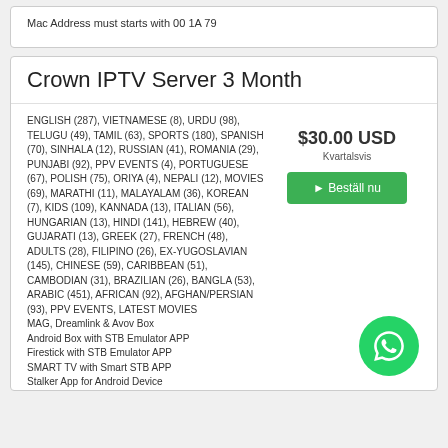Mac Address must starts with 00 1A 79
Crown IPTV Server 3 Month
ENGLISH (287), VIETNAMESE (8), URDU (98), TELUGU (49), TAMIL (63), SPORTS (180), SPANISH (70), SINHALA (12), RUSSIAN (41), ROMANIA (29), PUNJABI (92), PPV EVENTS (4), PORTUGUESE (67), POLISH (75), ORIYA (4), NEPALI (12), MOVIES (69), MARATHI (11), MALAYALAM (36), KOREAN (7), KIDS (109), KANNADA (13), ITALIAN (56), HUNGARIAN (13), HINDI (141), HEBREW (40), GUJARATI (13), GREEK (27), FRENCH (48), ADULTS (28), FILIPINO (26), EX-YUGOSLAVIAN (145), CHINESE (59), CARIBBEAN (51), CAMBODIAN (31), BRAZILIAN (26), BANGLA (53), ARABIC (451), AFRICAN (92), AFGHAN/PERSIAN (93), PPV EVENTS, LATEST MOVIES
MAG, Dreamlink & Avov Box
Android Box with STB Emulator APP
Firestick with STB Emulator APP
SMART TV with Smart STB APP
Stalker App for Android Device
$30.00 USD
Kvartalsvis
Beställ nu